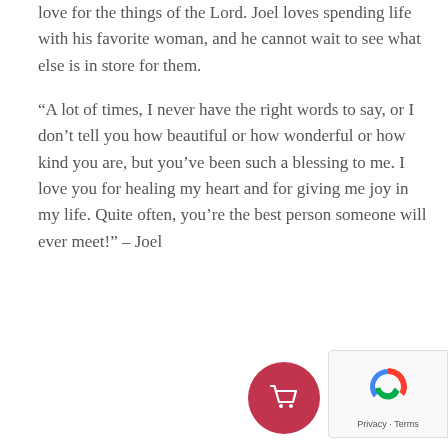love for the things of the Lord. Joel loves spending life with his favorite woman, and he cannot wait to see what else is in store for them.
“A lot of times, I never have the right words to say, or I don't tell you how beautiful or how wonderful or how kind you are, but you've been such a blessing to me. I love you for healing my heart and for giving me joy in my life. Quite often, you're the best person someone will ever meet!” – Joel